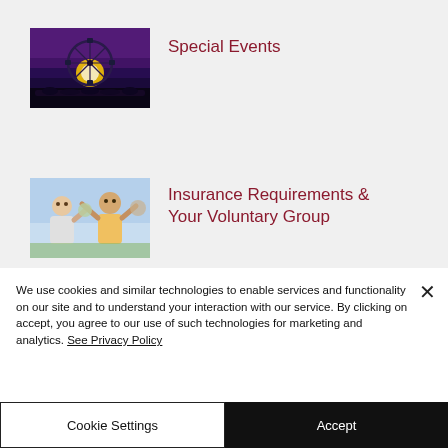[Figure (photo): Ferris wheel silhouette at dusk with purple/blue sky]
Special Events
[Figure (photo): Elderly people celebrating or cheering outdoors]
Insurance Requirements & Your Voluntary Group
We use cookies and similar technologies to enable services and functionality on our site and to understand your interaction with our service. By clicking on accept, you agree to our use of such technologies for marketing and analytics. See Privacy Policy